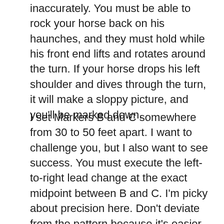inaccurately. You must be able to rock your horse back on his haunches, and they must hold while his front end lifts and rotates around the turn. If your horse drops his left shoulder and dives through the turn, it will make a sloppy picture, and you'll be marked down.
I set Markers B and C somewhere from 30 to 50 feet apart. I want to challenge you, but I also want to see success. You must execute the left-to-right lead change at the exact midpoint between B and C. I'm picky about precision here. Don't deviate from the pattern because it's easier for you to wait longer to get the change, and don't change earlier to set up for the counter lead at Marker C.